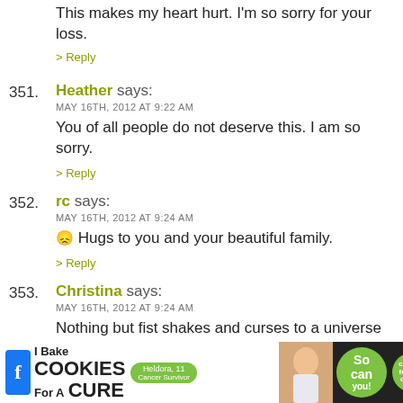This makes my heart hurt. I'm so sorry for your loss.
> Reply
351. Heather says: MAY 16TH, 2012 AT 9:22 AM — You of all people do not deserve this. I am so sorry. > Reply
352. rc says: MAY 16TH, 2012 AT 9:24 AM — :( Hugs to you and your beautiful family. > Reply
353. Christina says: MAY 16TH, 2012 AT 9:24 AM — Nothing but fist shakes and curses to a universe that so absolutley no sense.
[Figure (screenshot): Advertisement banner at bottom: 'I Bake COOKIES For A CURE' with Heldora, 11 Cancer Survivor badge, green cookies for kids cancer logo, and close buttons]